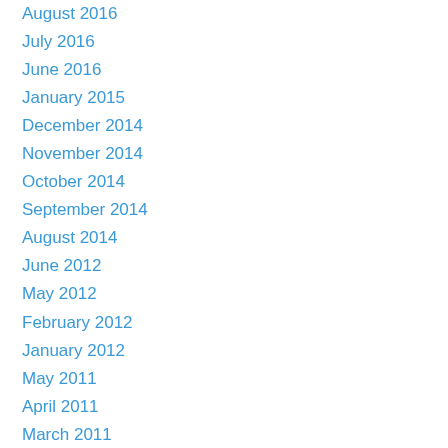August 2016
July 2016
June 2016
January 2015
December 2014
November 2014
October 2014
September 2014
August 2014
June 2012
May 2012
February 2012
January 2012
May 2011
April 2011
March 2011
February 2011
January 2011
Archives
February 2018